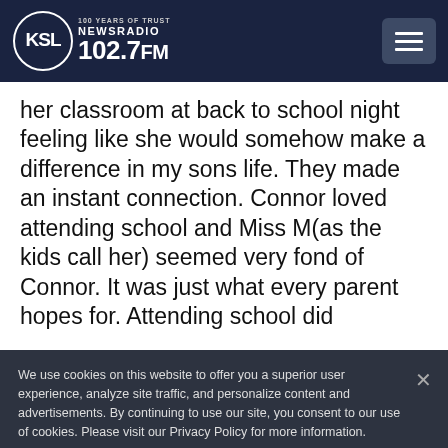KSL NewsRadio 102.7FM — navigation header with hamburger menu
her classroom at back to school night feeling like she would somehow make a difference in my sons life. They made an instant connection. Connor loved attending school and Miss M(as the kids call her) seemed very fond of Connor. It was just what every parent hopes for. Attending school did
We use cookies on this website to offer you a superior user experience, analyze site traffic, and personalize content and advertisements. By continuing to use our site, you consent to our use of cookies. Please visit our Privacy Policy for more information.